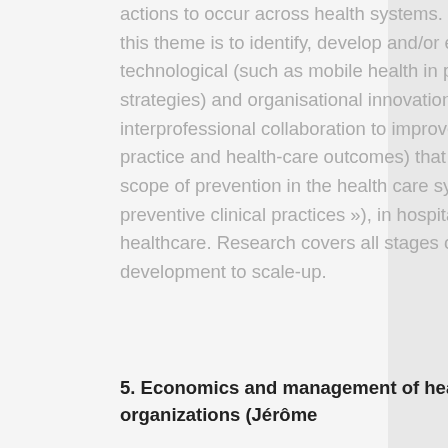actions to occur across health systems. The objective of this theme is to identify, develop and/or evaluate technological (such as mobile health in prevention strategies) and organisational innovations (such as interprofessional collaboration to improve professional practice and health-care outcomes) that fall within the scope of prevention in the health care system (or « preventive clinical practices »), in hospital or outpatient healthcare. Research covers all stages of innovation, from development to scale-up.
5. Economics and management of healthcare organizations (Jérôme